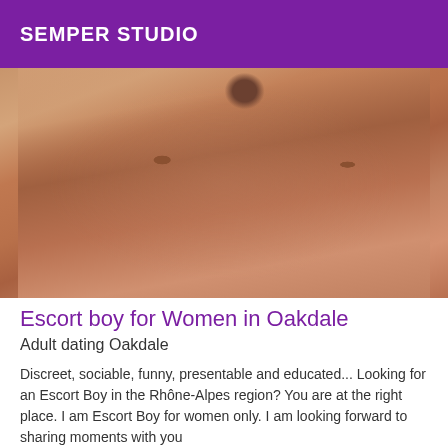SEMPER STUDIO
[Figure (photo): Torso photo of a man, close-up, skin tone warm brown, no face visible]
Escort boy for Women in Oakdale
Adult dating Oakdale
Discreet, sociable, funny, presentable and educated... Looking for an Escort Boy in the Rhône-Alpes region? You are at the right place. I am Escort Boy for women only. I am looking forward to sharing moments with you